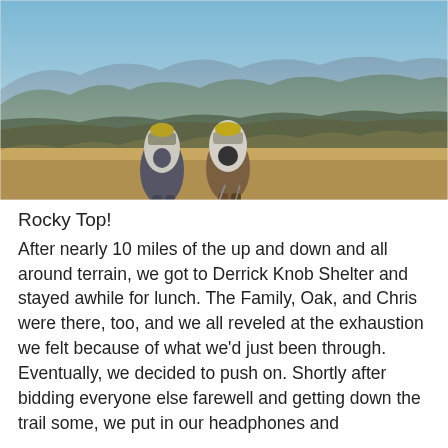[Figure (photo): Two hikers with large backpacks standing on a mountain ridge with a panoramic view of blue-hued mountain ranges in the background. The hikers face away from the camera. Dry winter grasses and bare trees are visible. The sky is clear and blue.]
Rocky Top!
After nearly 10 miles of the up and down and all around terrain, we got to Derrick Knob Shelter and stayed awhile for lunch. The Family, Oak, and Chris were there, too, and we all reveled at the exhaustion we felt because of what we'd just been through. Eventually, we decided to push on. Shortly after bidding everyone else farewell and getting down the trail some, we put in our headphones and listened to music as we completed the last nearly 7 miles or so.